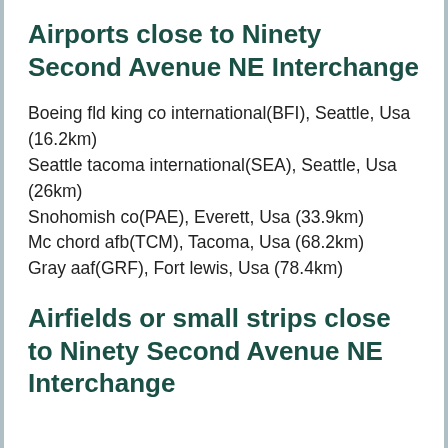Airports close to Ninety Second Avenue NE Interchange
Boeing fld king co international(BFI), Seattle, Usa (16.2km)
Seattle tacoma international(SEA), Seattle, Usa (26km)
Snohomish co(PAE), Everett, Usa (33.9km)
Mc chord afb(TCM), Tacoma, Usa (68.2km)
Gray aaf(GRF), Fort lewis, Usa (78.4km)
Airfields or small strips close to Ninety Second Avenue NE Interchange